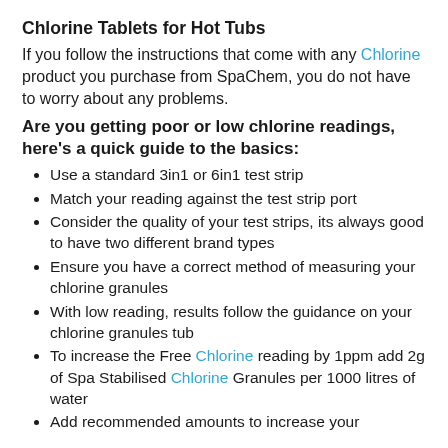Chlorine Tablets for Hot Tubs
If you follow the instructions that come with any Chlorine product you purchase from SpaChem, you do not have to worry about any problems.
Are you getting poor or low chlorine readings, here's a quick guide to the basics:
Use a standard 3in1 or 6in1 test strip
Match your reading against the test strip port
Consider the quality of your test strips, its always good to have two different brand types
Ensure you have a correct method of measuring your chlorine granules
With low reading, results follow the guidance on your chlorine granules tub
To increase the Free Chlorine reading by 1ppm add 2g of Spa Stabilised Chlorine Granules per 1000 litres of water
Add recommended amounts to increase your